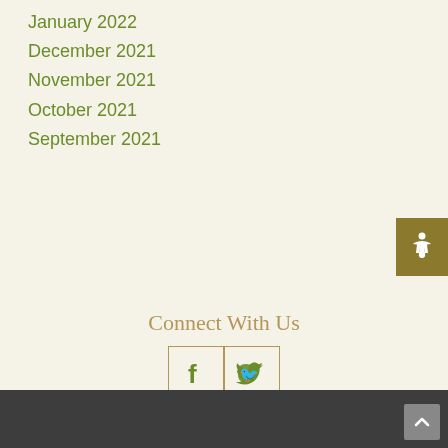January 2022
December 2021
November 2021
October 2021
September 2021
Connect With Us
[Figure (other): Facebook and Twitter social icons in bordered boxes]
[Figure (other): Social media buttons: Like Us (Facebook), Follow Us (Twitter), Review Us (Google)]